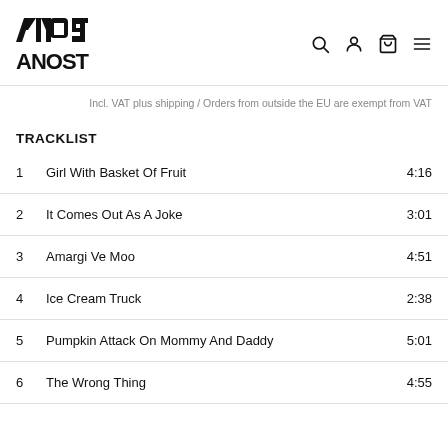ANOST [logo with search, account, cart, menu icons]
Incl. VAT plus shipping / Orders from outside the EU are exempt from VAT
TRACKLIST
1  Girl With Basket Of Fruit  4:16
2  It Comes Out As A Joke  3:01
3  Amargi Ve Moo  4:51
4  Ice Cream Truck  2:38
5  Pumpkin Attack On Mommy And Daddy  5:01
6  The Wrong Thing  4:55